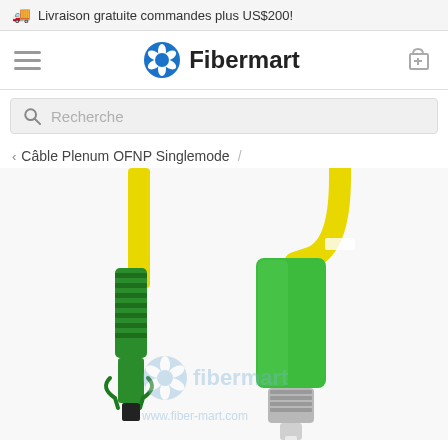🚚 Livraison gratuite commandes plus US$200!
[Figure (logo): Fibermart logo with blue gear/shutter icon and bold Fibermart text, hamburger menu icon on left, shopping cart icon on right]
Recherche
< Câble Plenum OFNP Singlemode /
[Figure (photo): Close-up photo of two fiber optic cable connectors: one LC/APC green connector with ribbed green boot and yellow cable, and one FC/APC green connector with yellow cable, showing metallic FC ferrule. Fibermart watermark logo and www.fiber-mart.com URL visible.]